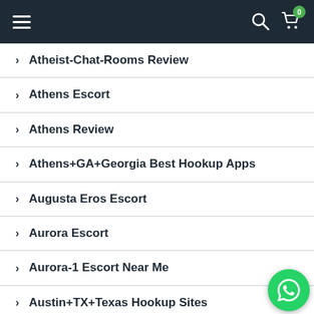Navigation bar with hamburger menu, search icon, and cart icon (badge: 0)
> Atheist-Chat-Rooms Review
> Athens Escort
> Athens Review
> Athens+GA+Georgia Best Hookup Apps
> Augusta Eros Escort
> Aurora Escort
> Aurora-1 Escort Near Me
> Austin+TX+Texas Hookup Sites
> Auto Title Loans Near Me